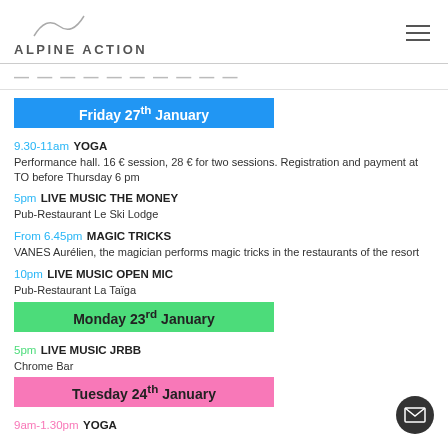ALPINE ACTION
Events Calendar (partial)
Friday 27th January
9.30-11am YOGA
Performance hall. 16 € session, 28 € for two sessions. Registration and payment at TO before Thursday 6 pm
5pm LIVE MUSIC THE MONEY
Pub-Restaurant Le Ski Lodge
From 6.45pm MAGIC TRICKS
VANES Aurélien, the magician performs magic tricks in the restaurants of the resort
10pm LIVE MUSIC OPEN MIC
Pub-Restaurant La Taïga
Monday 23rd January
5pm LIVE MUSIC JRBB
Chrome Bar
Tuesday 24th January
9am-1.30pm YOGA